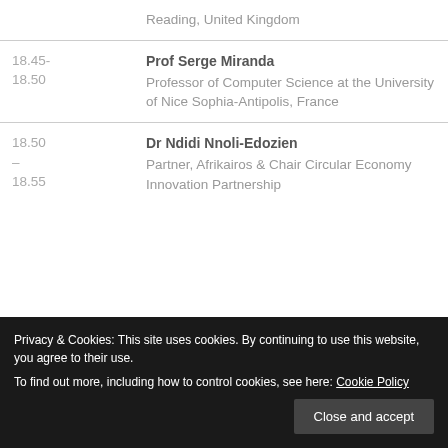| Time | Speaker |
| --- | --- |
|  | Reading, United Kingdom |
| 18.45-
18.50 | Prof Serge Miranda
Professor of Computer Science at the University of Nice Sophia-Antipolis, France |
| 18.50 –
18.55 | Dr Ndidi Nnoli-Edozien
Partner, Afrikairos & Chair Circular Economy Innovation Partnership |
Privacy & Cookies: This site uses cookies. By continuing to use this website, you agree to their use.
To find out more, including how to control cookies, see here: Cookie Policy